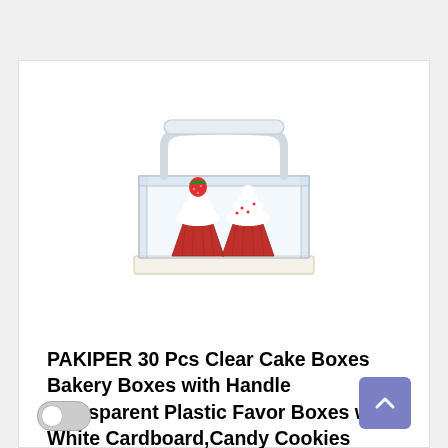[Figure (photo): Clear plastic gable box with handle containing two red velvet cupcakes with white frosting and a strawberry on top, sitting on white cardboard base]
PAKIPER 30 Pcs Clear Cake Boxes Bakery Boxes with Handle Transparent Plastic Favor Boxes with White Cardboard,Candy Cookies Cupcakes Gable Boxes for Wedding,Birthday